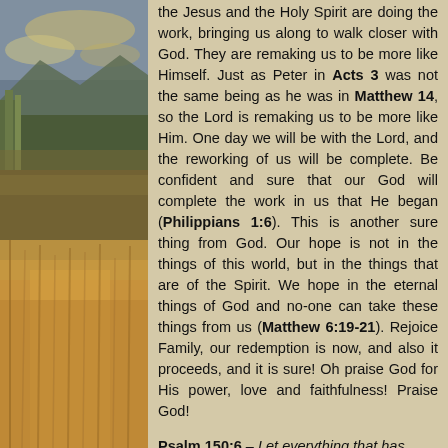[Figure (photo): Nature landscape photo on the left side showing mountains, sky with clouds, marsh grasses and water in autumn colors]
the Jesus and the Holy Spirit are doing the work, bringing us along to walk closer with God. They are remaking us to be more like Himself. Just as Peter in Acts 3 was not the same being as he was in Matthew 14, so the Lord is remaking us to be more like Him. One day we will be with the Lord, and the reworking of us will be complete. Be confident and sure that our God will complete the work in us that He began (Philippians 1:6). This is another sure thing from God. Our hope is not in the things of this world, but in the things that are of the Spirit. We hope in the eternal things of God and no-one can take these things from us (Matthew 6:19-21). Rejoice Family, our redemption is now, and also it proceeds, and it is sure! Oh praise God for His power, love and faithfulness! Praise God!
Psalm 150:6 – Let everything that has breath praise the Lord. Praise the Lord!
Micah 7:7 – But as for me, I watch in hope